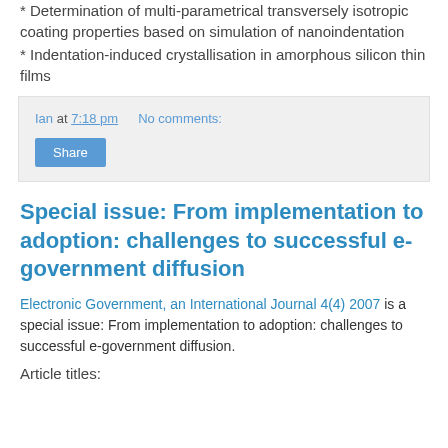* Determination of multi-parametrical transversely isotropic coating properties based on simulation of nanoindentation
* Indentation-induced crystallisation in amorphous silicon thin films
Ian at 7:18 pm    No comments:
Share
Special issue: From implementation to adoption: challenges to successful e-government diffusion
Electronic Government, an International Journal 4(4) 2007 is a special issue: From implementation to adoption: challenges to successful e-government diffusion.
Article titles: